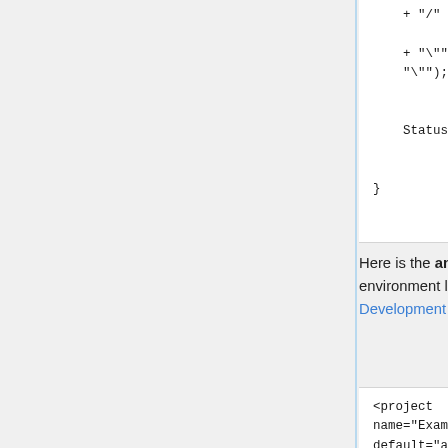+ "/"

    + "\"" + el.cachedValue + "\"";
                    }
                    return Status.OK;
            }

}
Here is the ant build file to build it. It assumes a development environment like that described in Setting Up a MIRC Development Environment.
<project name="ExampleLogAdapter" default="all" basedir=".">

        <property name="build"